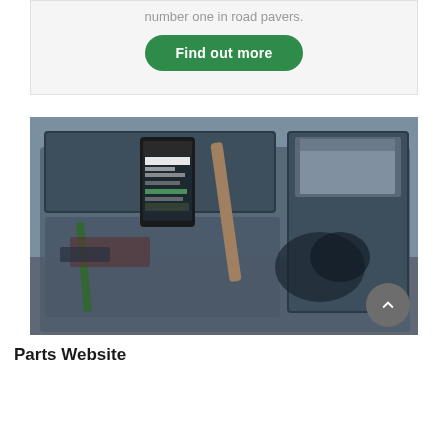number one in road pavers.
Find out more
[Figure (photo): A toolbox or equipment tray containing a smartphone displaying a parts website interface, along with tools including what appears to be a hammer handle, green pen, cables, and other equipment items. The tray appears to be mounted on construction/road paving machinery. Background shows gravel/asphalt surface.]
Parts Website